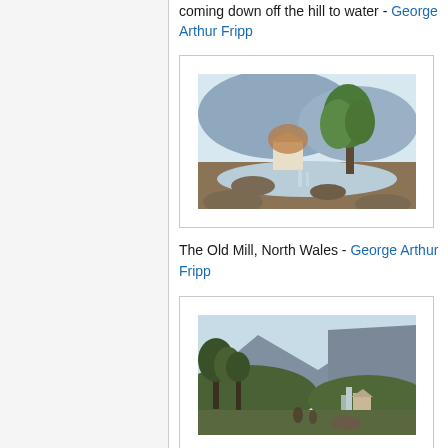coming down off the hill to water - George Arthur Fripp
[Figure (illustration): Watercolor landscape painting showing a river or stream scene with large trees, mountains in the background, and rocks in the foreground - The Old Mill, North Wales by George Arthur Fripp]
The Old Mill, North Wales - George Arthur Fripp
[Figure (illustration): Watercolor landscape painting showing a mountain scene with trees and a waterfall, figures visible near the base - artwork by George Arthur Fripp]